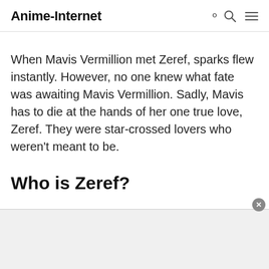Anime-Internet
When Mavis Vermillion met Zeref, sparks flew instantly. However, no one knew what fate was awaiting Mavis Vermillion. Sadly, Mavis has to die at the hands of her one true love, Zeref. They were star-crossed lovers who weren't meant to be.
Who is Zeref?
[Figure (other): Advertisement banner at the bottom of the page with a close button]